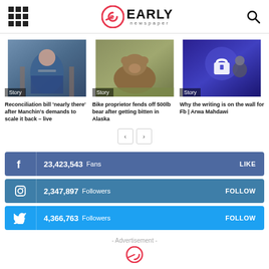Early Newspaper
[Figure (screenshot): News article thumbnail: Press briefing with woman in blue blazer and man in mask]
Story
Reconciliation bill 'nearly there' after Manchin's demands to scale it back – live
[Figure (photo): Brown bear standing in a field]
Story
Bike proprietor fends off 500lb bear after getting bitten in Alaska
[Figure (photo): Mark Zuckerberg in front of a blue lock graphic]
Story
Why the writing is on the wall for Fb | Arwa Mahdawi
23,423,543  Fans  LIKE
2,347,897  Followers  FOLLOW
4,366,763  Followers  FOLLOW
- Advertisement -